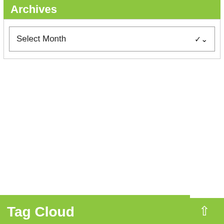Archives
Select Month
Tag Cloud